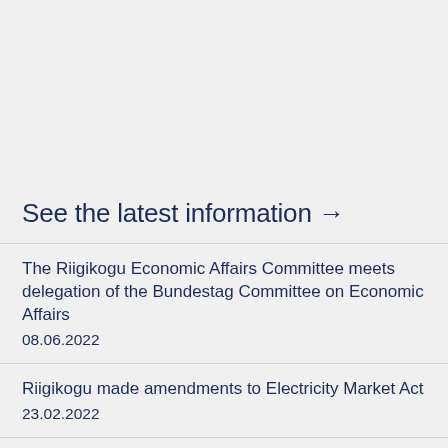See the latest information →
The Riigikogu Economic Affairs Committee meets delegation of the Bundestag Committee on Economic Affairs
08.06.2022
Riigikogu made amendments to Electricity Market Act
23.02.2022
Members of the Riigikogu discussed green transition and Belarus with Roberta Metsola